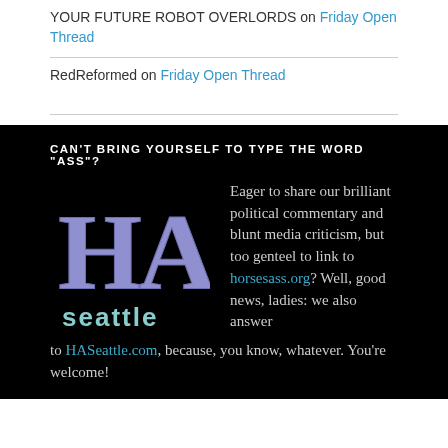YOUR FUTURE ROBOT OVERLORDS on Friday Open Thread
RedReformed on Friday Open Thread
[Figure (logo): HA Seattle logo with stylized purple/lavender 'HA' letters and 'seattle' in teal/white below on black background]
CAN'T BRING YOURSELF TO TYPE THE WORD "ASS"?
Eager to share our brilliant political commentary and blunt media criticism, but too genteel to link to horsesass.org? Well, good news, ladies: we also answer to HASeattle.com, because, you know, whatever. You're welcome!